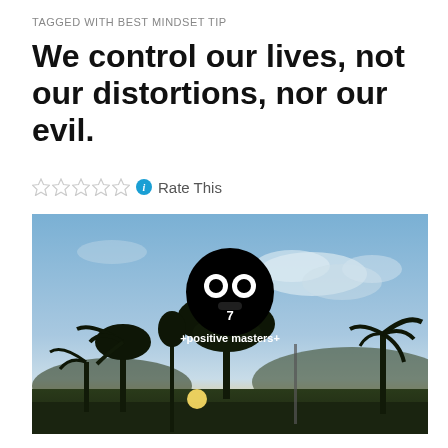TAGGED WITH BEST MINDSET TIP
We control our lives, not our distortions, nor our evil.
☆☆☆☆☆ ℹ Rate This
[Figure (photo): Outdoor photo at dusk showing silhouettes of tropical trees (palms and tall trees) against a blue sky with clouds and a setting sun on the horizon over hills. Overlaid with a black circular logo showing two white eyes and the number 7, with white text '+positive masters+' below the logo.]